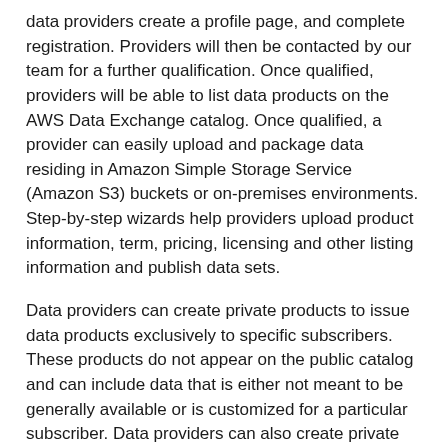data providers create a profile page, and complete registration. Providers will then be contacted by our team for a further qualification. Once qualified, providers will be able to list data products on the AWS Data Exchange catalog. Once qualified, a provider can easily upload and package data residing in Amazon Simple Storage Service (Amazon S3) buckets or on-premises environments. Step-by-step wizards help providers upload product information, term, pricing, licensing and other listing information and publish data sets.
Data providers can create private products to issue data products exclusively to specific subscribers. These products do not appear on the public catalog and can include data that is either not meant to be generally available or is customized for a particular subscriber. Data providers can also create private offers with custom negotiated prices and/or terms to individual AWS customers.
After publishing a data product, delivering existing subscriptions to customers using AWS Data Exchange is easy. Data providers can create a Bring-Your-Own-Subscription (BYOS) offer specifying existing arrangements and enrollment details for enrolling best...